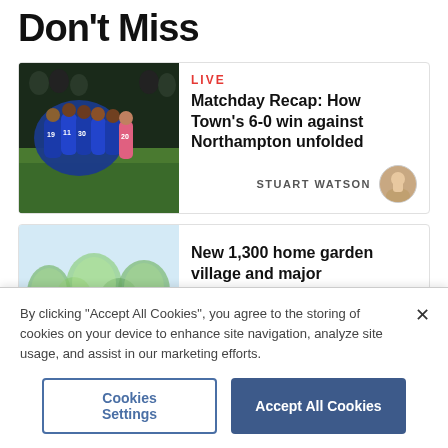Don't Miss
[Figure (photo): Football players in blue jerseys huddling on a pitch, with a goalkeeper in pink visible in the background]
LIVE
Matchday Recap: How Town's 6-0 win against Northampton unfolded
STUART WATSON
[Figure (photo): Illustration of a garden village with trees and houses, light blue-green tones]
New 1,300 home garden village and major developments earmarked
By clicking "Accept All Cookies", you agree to the storing of cookies on your device to enhance site navigation, analyze site usage, and assist in our marketing efforts.
Cookies Settings
Accept All Cookies